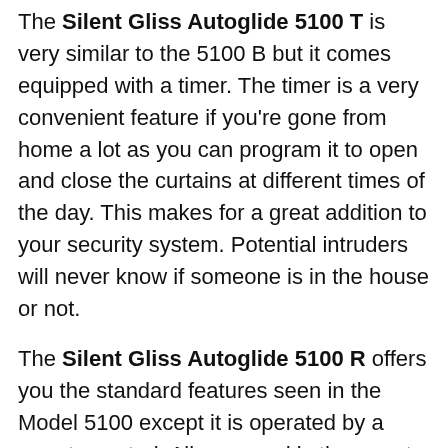The Silent Gliss Autoglide 5100 T is very similar to the 5100 B but it comes equipped with a timer. The timer is a very convenient feature if you're gone from home a lot as you can program it to open and close the curtains at different times of the day. This makes for a great addition to your security system. Potential intruders will never know if someone is in the house or not.
The Silent Gliss Autoglide 5100 R offers you the standard features seen in the Model 5100 except it is operated by a remote control. All you need is the remote control and you can open and close them from wherever you happen to be in your home. This model is excellent for individuals with mobility problems.
The Silent Gliss Autoglide 5100 TC gives you total control of your electric curtains as it comes with the timer, wall switch and remote control. You'll really have complete